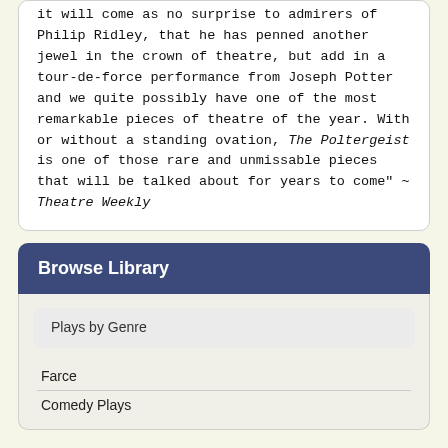it will come as no surprise to admirers of Philip Ridley, that he has penned another jewel in the crown of theatre, but add in a tour-de-force performance from Joseph Potter and we quite possibly have one of the most remarkable pieces of theatre of the year. With or without a standing ovation, The Poltergeist is one of those rare and unmissable pieces that will be talked about for years to come" ~ Theatre Weekly
Browse Library
Plays by Genre
Farce
Comedy Plays